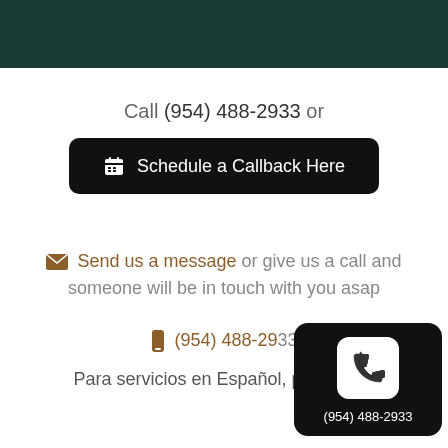[Figure (other): Dark green banner header at top of page]
Call (954) 488-2933 or
Schedule a Callback Here
✉ Send us a message or give us a call and someone will be in touch with you asap
📱 (954) 488-2933
Para servicios en Español, p...a aquí.
[Figure (other): Floating phone call widget showing phone handset icon and number (954) 488-2933]